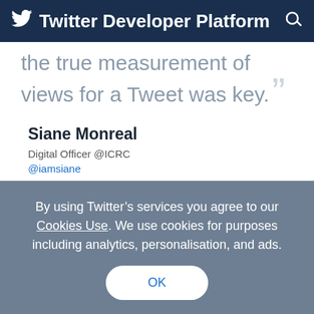Twitter Developer Platform
the true measurement of views for a Tweet was key.
Siane Monreal
Digital Officer @ICRC
@iamsiane
With the sample Engagement API client we were able to quickly generate insightful - and actionable
By using Twitter’s services you agree to our Cookies Use. We use cookies for purposes including analytics, personalisation, and ads.
OK